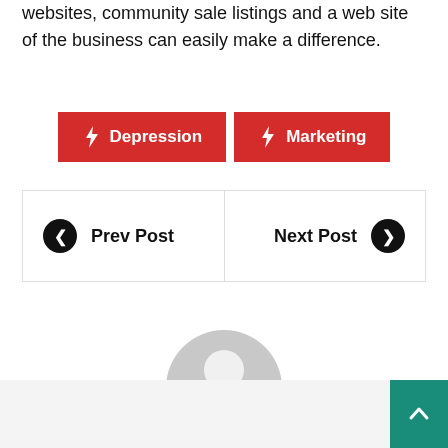websites, community sale listings and a web site of the business can easily make a difference.
Depression
Marketing
Prev Post
Next Post
[Figure (illustration): Generic user avatar: circular grey icon with silhouette of a person (head and shoulders) on a light grey circle background]